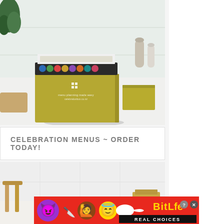[Figure (photo): A golden/olive colored gift box with colorful items inside shown open, sitting on a white kitchen counter. A plant is visible in the top left corner. A separate lid is visible to the right of the box. Kitchen accessories are in the background.]
CELEBRATION MENUS ~ ORDER TODAY!
[Figure (photo): A blurred kitchen scene with wooden stool visible on the left and a cardboard box on the right side. White tile backsplash in background.]
[Figure (other): Advertisement banner for BitLife app with cartoon characters (devil emoji, woman with knife, angel emoji, sperm emoji), BitLife logo in yellow, and 'REAL CHOICES' text on black bar. Red background.]